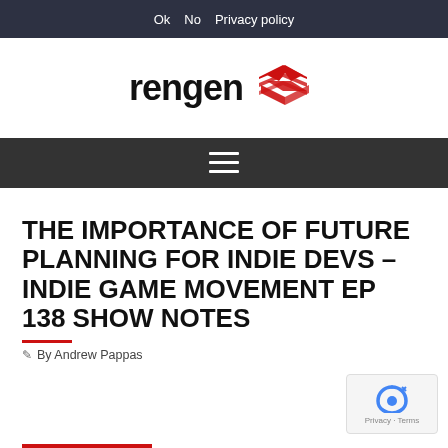Ok  No  Privacy policy
[Figure (logo): rengen logo with red geometric diamond/arrow icon]
[Figure (other): Hamburger menu icon (three horizontal lines) on dark background navigation bar]
THE IMPORTANCE OF FUTURE PLANNING FOR INDIE DEVS – INDIE GAME MOVEMENT EP 138 SHOW NOTES
By Andrew Pappas